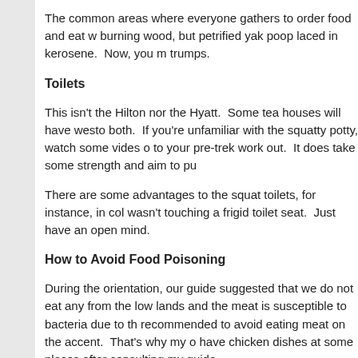The common areas where everyone gathers to order food and eat w… burning wood, but petrified yak poop laced in kerosene.  Now, you m… trumps.
Toilets
This isn't the Hilton nor the Hyatt.  Some tea houses will have westo… both.  If you're unfamiliar with the squatty potty, watch some vides o… to your pre-trek work out.  It does take some strength and aim to pu…
There are some advantages to the squat toilets, for instance, in col… wasn't touching a frigid toilet seat.  Just have an open mind.
How to Avoid Food Poisoning
During the orientation, our guide suggested that we do not eat any … from the low lands and the meat is susceptible to bacteria due to th… recommended to avoid eating meat on the accent.  That's why my o… have chicken dishes at some places after consulting my guide.